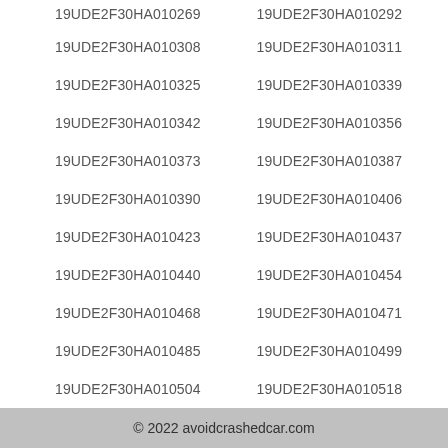19UDE2F30HA010269    19UDE2F30HA010292
19UDE2F30HA010308    19UDE2F30HA010311
19UDE2F30HA010325    19UDE2F30HA010339
19UDE2F30HA010342    19UDE2F30HA010356
19UDE2F30HA010373    19UDE2F30HA010387
19UDE2F30HA010390    19UDE2F30HA010406
19UDE2F30HA010423    19UDE2F30HA010437
19UDE2F30HA010440    19UDE2F30HA010454
19UDE2F30HA010468    19UDE2F30HA010471
19UDE2F30HA010485    19UDE2F30HA010499
19UDE2F30HA010504    19UDE2F30HA010518
© 2022 avoidcrashedcar.com